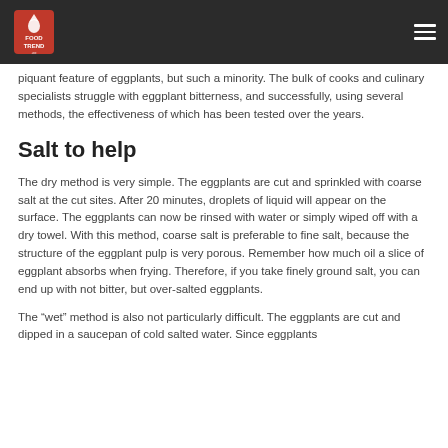Food Trend logo and navigation
piquant feature of eggplants, but such a minority. The bulk of cooks and culinary specialists struggle with eggplant bitterness, and successfully, using several methods, the effectiveness of which has been tested over the years.
Salt to help
The dry method is very simple. The eggplants are cut and sprinkled with coarse salt at the cut sites. After 20 minutes, droplets of liquid will appear on the surface. The eggplants can now be rinsed with water or simply wiped off with a dry towel. With this method, coarse salt is preferable to fine salt, because the structure of the eggplant pulp is very porous. Remember how much oil a slice of eggplant absorbs when frying. Therefore, if you take finely ground salt, you can end up with not bitter, but over-salted eggplants.
The “wet” method is also not particularly difficult. The eggplants are cut and dipped in a saucepan of cold salted water. Since eggplants